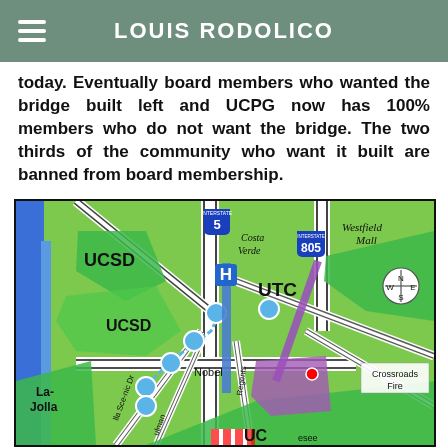LOUIS RODOLICO
today. Eventually board members who wanted the bridge built left and UCPG now has 100% members who do not want the bridge. The two thirds of the community who want it built are banned from board membership.
[Figure (map): Map of the UTC/UCSD area in San Diego showing Interstate 5, Interstate 805, Costa Verde, Westfield Mall, UTC, UCSD, La-Jolla, Nobel, Crossroads Fire, Regents Dr, La Scenic Dr, and other roads. Blue transit route circles, a compass rose, and colored areas (green, purple, blue) are shown.]